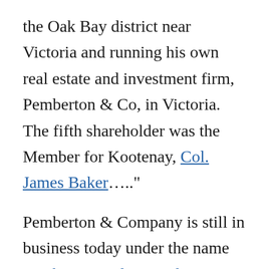the Oak Bay district near Victoria and running his own real estate and investment firm, Pemberton & Co, in Victoria. The fifth shareholder was the Member for Kootenay, Col. James Baker…..”
Pemberton & Company is still in business today under the name Pemberton Holmes Ltd.
Here are some page with more information about Joseph Despard Pemberton: